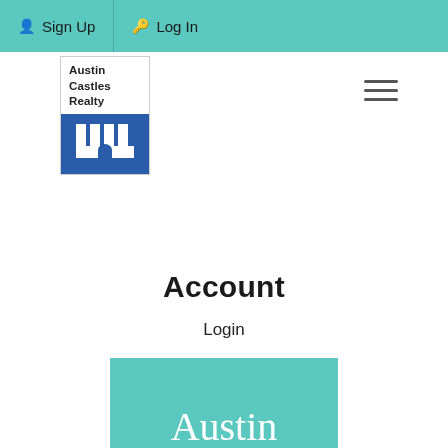Sign Up  Log In
[Figure (logo): Austin Castles Realty logo: text on white background above blue castle silhouette icon]
[Figure (other): Hamburger menu icon (three horizontal lines)]
Account
Login
[Figure (logo): Large Austin Castles Realty branding on teal background with white serif text reading Austin Castles Realty]